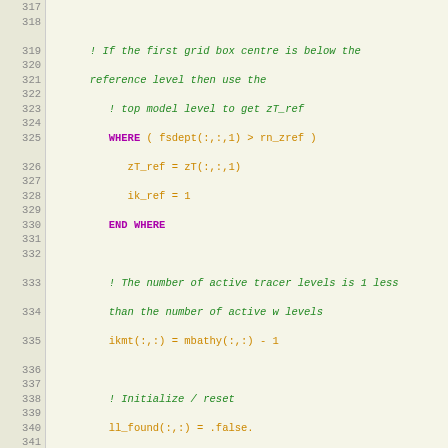Source code listing, lines 317-343, Fortran code for ocean model mixed layer depth calculation